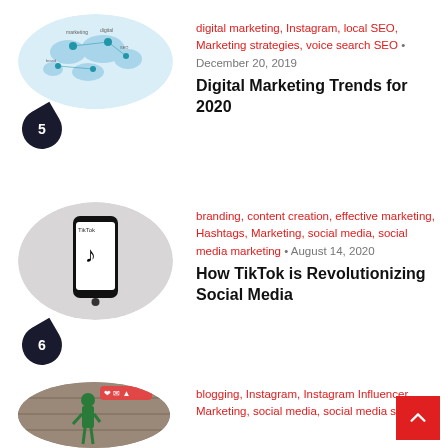[Figure (photo): World map illustration with marketing icons for entry 5]
digital marketing, Instagram, local SEO, Marketing strategies, voice search SEO • December 20, 2019
Digital Marketing Trends for 2020
[Figure (photo): TikTok app on a smartphone on a white background for entry 6]
branding, content creation, effective marketing, Hashtags, Marketing, social media, social media marketing • August 14, 2020
How TikTok is Revolutionizing Social Media
[Figure (photo): Street art photo for entry 7]
blogging, Instagram, Instagram Influencer, Marketing, social media, social media strategy,